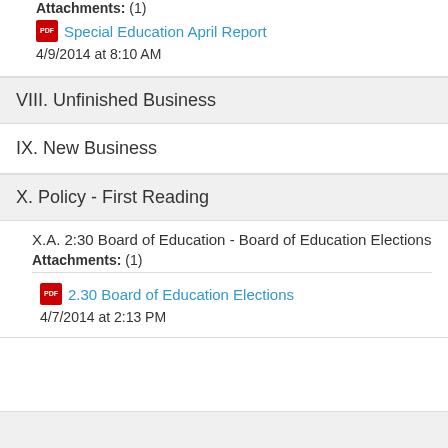Attachments: (1)
Special Education April Report
4/9/2014 at 8:10 AM
VIII. Unfinished Business
IX. New Business
X. Policy - First Reading
X.A. 2:30 Board of Education - Board of Education Elections
Attachments: (1)
2.30 Board of Education Elections
4/7/2014 at 2:13 PM